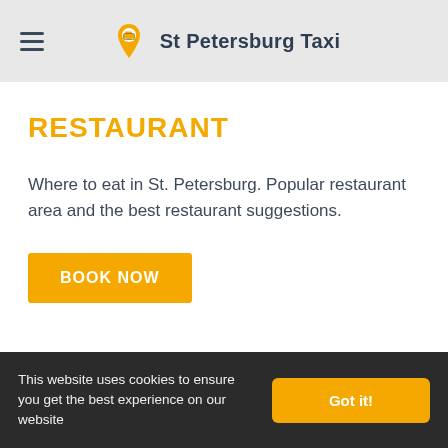St Petersburg Taxi
RESTAURANT
Where to eat in St. Petersburg. Popular restaurant area and the best restaurant suggestions.
BOOK NOW
This website uses cookies to ensure you get the best experience on our website  Got it!